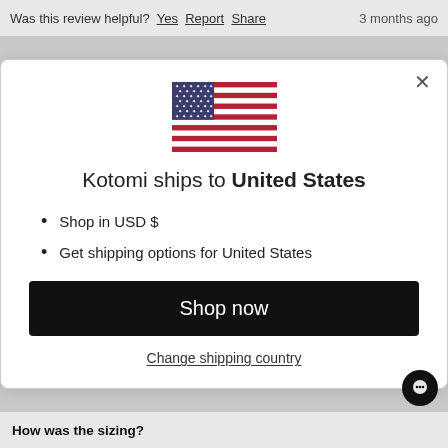Was this review helpful?  Yes  Report  Share  3 months ago
[Figure (illustration): US flag emoji/icon centered in modal]
Kotomi ships to United States
Shop in USD $
Get shipping options for United States
Shop now
Change shipping country
How was the sizing?